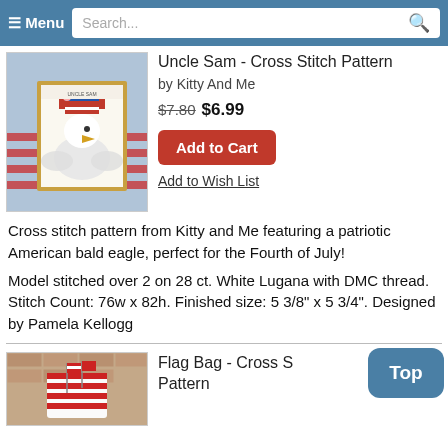≡ Menu  Search...
[Figure (photo): Uncle Sam cross stitch pattern cover showing a patriotic bald eagle wearing a red, white and blue hat with flowers, framed in a gold frame with an American flag background]
Uncle Sam - Cross Stitch Pattern
by Kitty And Me
$7.80 $6.99
Add to Cart
Add to Wish List
Cross stitch pattern from Kitty and Me featuring a patriotic American bald eagle, perfect for the Fourth of July!
Model stitched over 2 on 28 ct. White Lugana with DMC thread. Stitch Count: 76w x 82h. Finished size: 5 3/8" x 5 3/4". Designed by Pamela Kellogg
[Figure (photo): Flag Bag cross stitch pattern cover showing American flags in a decorative bag with red and white stripes]
Flag Bag - Cross Stitch Pattern